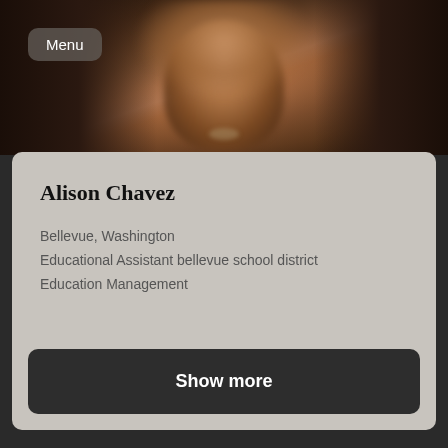[Figure (photo): Blurry close-up photo of a person with reddish-brown hair, dark background]
Menu
Alison Chavez
Bellevue, Washington
Educational Assistant bellevue school district
Education Management
Show more